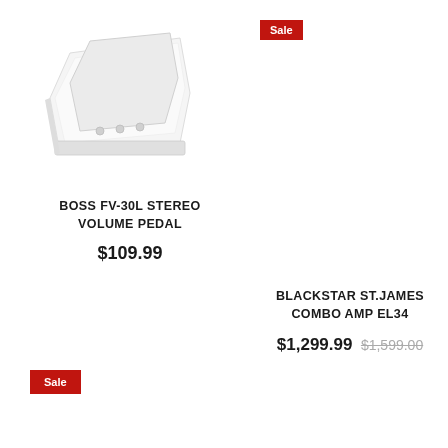[Figure (photo): White BOSS FV-30L stereo volume pedal product photo on white background]
BOSS FV-30L STEREO VOLUME PEDAL
$109.99
Sale
BLACKSTAR ST.JAMES COMBO AMP EL34
$1,299.99 $1,599.00
Sale